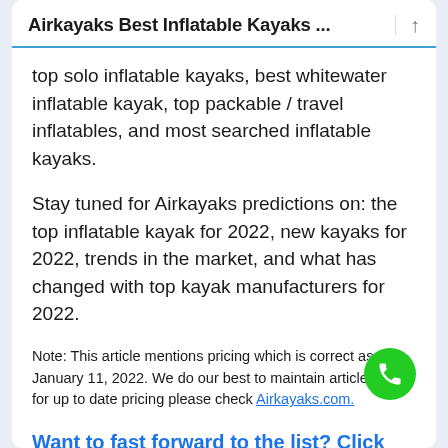Airkayaks Best Inflatable Kayaks ...
top solo inflatable kayaks, best whitewater inflatable kayak, top packable / travel inflatables, and most searched inflatable kayaks.
Stay tuned for Airkayaks predictions on: the top inflatable kayak for 2022, new kayaks for 2022, trends in the market, and what has changed with top kayak manufacturers for 2022.
Note: This article mentions pricing which is correct as of January 11, 2022. We do our best to maintain articles, but for up to date pricing please check Airkayaks.com.
Want to fast forward to the list? Click here.